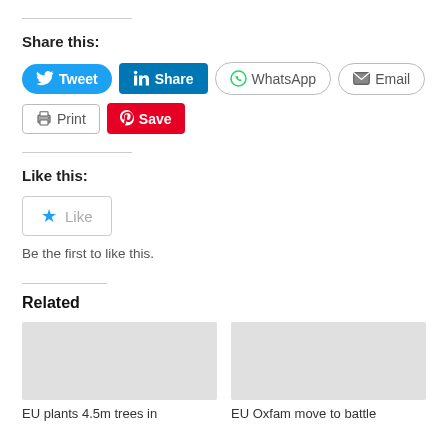Share this:
[Figure (infographic): Social share buttons: Tweet (Twitter, blue), Share (LinkedIn, blue), WhatsApp (outlined), Email (outlined), Print (outlined), Save (Pinterest, red)]
Like this:
[Figure (infographic): Like button with blue star icon and grey 'Like' text, outlined box]
Be the first to like this.
Related
EU plants 4.5m trees in
EU Oxfam move to battle